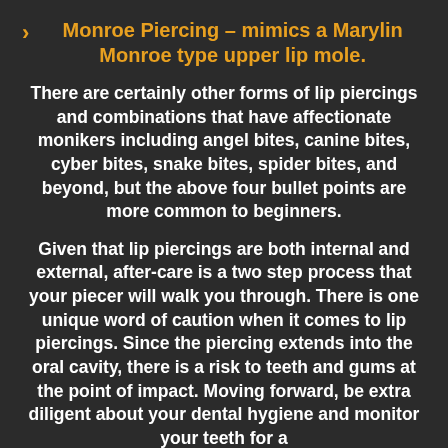Monroe Piercing – mimics a Marylin Monroe type upper lip mole.
There are certainly other forms of lip piercings and combinations that have affectionate monikers including angel bites, canine bites, cyber bites, snake bites, spider bites, and beyond, but the above four bullet points are more common to beginners.
Given that lip piercings are both internal and external, after-care is a two step process that your piecer will walk you through. There is one unique word of caution when it comes to lip piercings. Since the piercing extends into the oral cavity, there is a risk to teeth and gums at the point of impact. Moving forward, be extra diligent about your dental hygiene and monitor your teeth for a